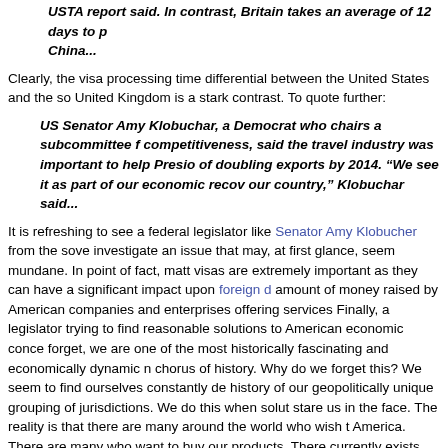USTA report said. In contrast, Britain takes an average of 12 days to p China...
Clearly, the visa processing time differential between the United States and the so United Kingdom is a stark contrast. To quote further:
US Senator Amy Klobuchar, a Democrat who chairs a subcommittee f competitiveness, said the travel industry was important to help Presio of doubling exports by 2014. “We see it as part of our economic recov our country,” Klobuchar said…
It is refreshing to see a federal legislator like Senator Amy Klobucher from the sove investigate an issue that may, at first glance, seem mundane. In point of fact, matt visas are extremely important as they can have a significant impact upon foreign d amount of money raised by American companies and enterprises offering services Finally, a legislator trying to find reasonable solutions to American economic conce forget, we are one of the most historically fascinating and economically dynamic n chorus of history. Why do we forget this? We seem to find ourselves constantly de history of our geopolitically unique grouping of jurisdictions. We do this when solut stare us in the face. The reality is that there are many around the world who wish t America. There are many who want to buy our products. There currently exists the have a constantly growing middle class of prospective international travelers for de traveling for both business as well as pleasure. It stands to reason that many pros international travel decisions with great care. Therefore, America should continue t international competitive market for income generated from tourism. It stands to re tourism income.